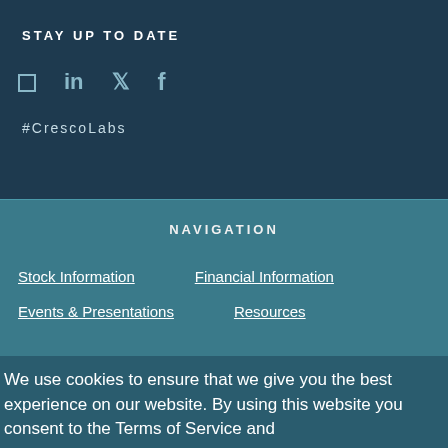STAY UP TO DATE
[Figure (other): Social media icons: Instagram, LinkedIn, Twitter, Facebook]
#CrescoLabs
NAVIGATION
Stock Information
Financial Information
Events & Presentations
Resources
We use cookies to ensure that we give you the best experience on our website. By using this website you consent to the Terms of Service and...